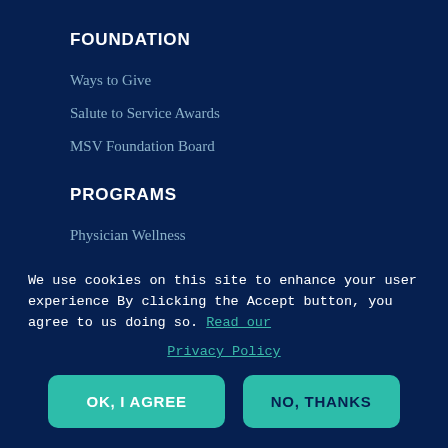FOUNDATION
Ways to Give
Salute to Service Awards
MSV Foundation Board
PROGRAMS
Physician Wellness
Leadership Programs
Accreditation
Prescription Savings: VA Drug Card
Continuing Education Opportunities
RESOURCES
We use cookies on this site to enhance your user experience By clicking the Accept button, you agree to us doing so. Read our Privacy Policy
OK, I AGREE
NO, THANKS